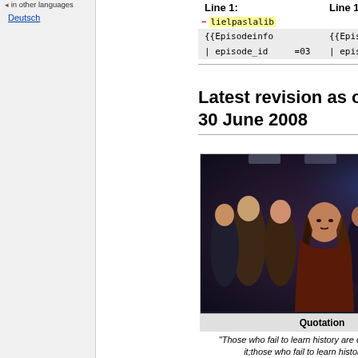in other languages
Deutsch
| Line 1: | Line 1: |
| --- | --- |
| – lielpaslalib |  |
| {{Episodeinfo | {{Episodeinfo |
| | episode_id   =03 | | episode_id   =03 |
Latest revision as of 22:13, 30 June 2008
[Figure (photo): Group of people in a sci-fi setting, woman with long curly hair in foreground surrounded by crowd]
Quotation
"Those who fail to learn history are doomed to repeat it;those who fail to learn history correctly